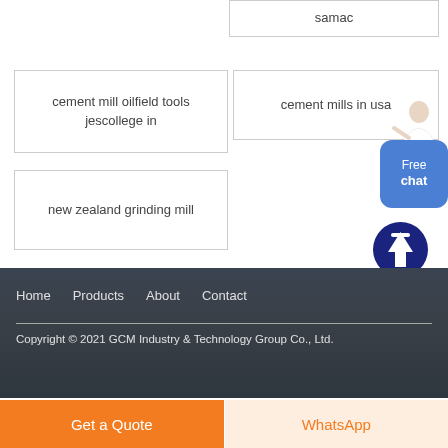samac
cement mill oilfield tools jescollege in
cement mills in usa
new zealand grinding mill
[Figure (illustration): Free chat button with person avatar and up arrow navigation icon]
Home  Products  About  Contact
Copyright © 2021 GCM Industry & Technology Group Co., Ltd.
Get a Quote
WhatsApp